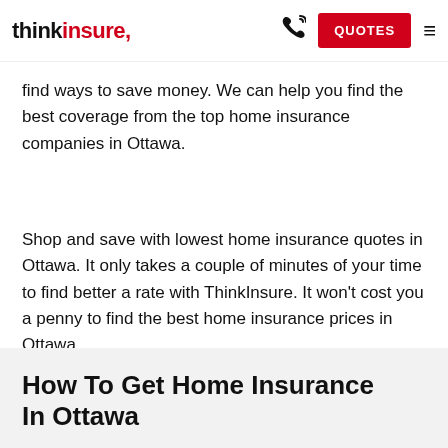thinkinsure. [phone icon] QUOTES [menu icon]
find ways to save money. We can help you find the best coverage from the top home insurance companies in Ottawa.
Shop and save with lowest home insurance quotes in Ottawa. It only takes a couple of minutes of your time to find better a rate with ThinkInsure. It won't cost you a penny to find the best home insurance prices in Ottawa.
How To Get Home Insurance In Ottawa